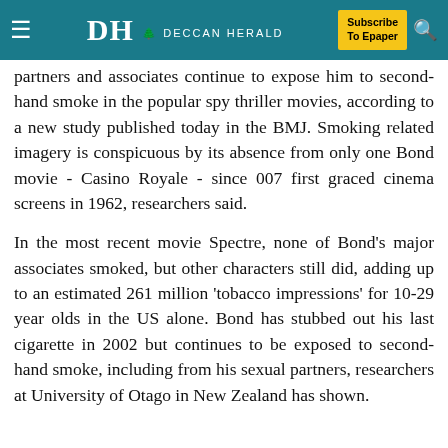DH DECCAN HERALD | Subscribe To Epaper
partners and associates continue to expose him to second-hand smoke in the popular spy thriller movies, according to a new study published today in the BMJ. Smoking related imagery is conspicuous by its absence from only one Bond movie - Casino Royale - since 007 first graced cinema screens in 1962, researchers said.
In the most recent movie Spectre, none of Bond's major associates smoked, but other characters still did, adding up to an estimated 261 million 'tobacco impressions' for 10-29 year olds in the US alone. Bond has stubbed out his last cigarette in 2002 but continues to be exposed to second-hand smoke, including from his sexual partners, researchers at University of Otago in New Zealand has shown.